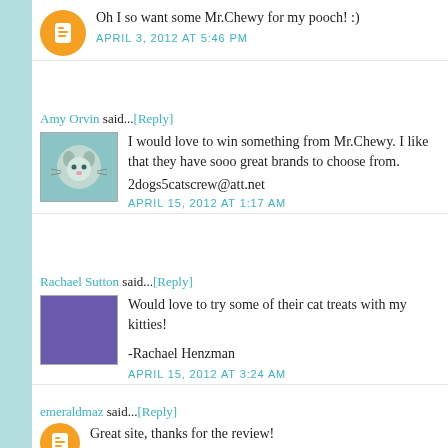Oh I so want some Mr.Chewy for my pooch! :)
APRIL 3, 2012 AT 5:46 PM
Amy Orvin said...[Reply]
I would love to win something from Mr.Chewy. I like that they have sooo great brands to choose from.
2dogs5catscrew@att.net
APRIL 15, 2012 AT 1:17 AM
Rachael Sutton said...[Reply]
Would love to try some of their cat treats with my kitties!
-Rachael Henzman
APRIL 15, 2012 AT 3:24 AM
emeraldmaz said...[Reply]
Great site, thanks for the review!